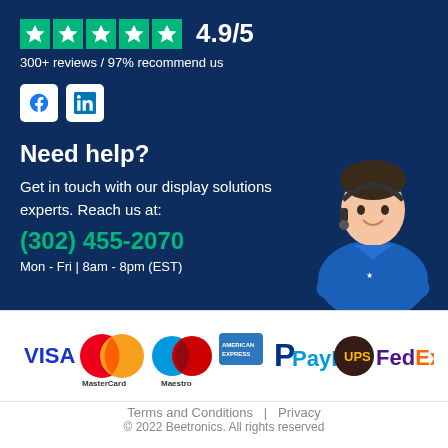[Figure (infographic): Trustpilot-style 5 green stars with rating 4.9/5]
300+ reviews / 97% recommend us
[Figure (infographic): Facebook and LinkedIn social media icons]
Need help?
Get in touch with our display solutions experts. Reach us at:
(302) 455-2070
Mon - Fri | 8am - 8pm (EST)
[Figure (photo): Customer support agent wearing a headset, blue shirt, arms crossed, smiling]
[Figure (infographic): Payment method logos: VISA, MasterCard, Maestro, American Express, PayPal, UPS, FedEx]
Terms and Conditions | Privacy
© 2022 Beetronics. All rights reserved